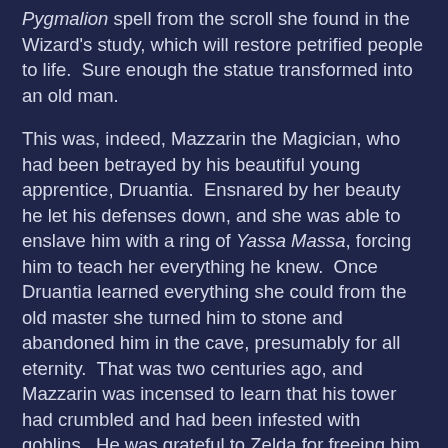Pygmalion spell from the scroll she found in the Wizard's study, which will restore petrified people to life.  Sure enough the statue transformed into an old man.
This was, indeed, Mazzarin the Magician, who had been betrayed by his beautiful young apprentice, Druantia.  Ensnared by her beauty he let his defenses down, and she was able to enslave him with a ring of Yassa Massa, forcing him to teach her everything he knew.  Once Druantia learned everything she could from the old master she turned him to stone and abandoned him in the cave, presumably for all eternity.  That was two centuries ago, and Mazzarin was incensed to learn that his tower had crumbled and had been infested with goblins.  He was grateful to Zelda for freeing him of his enchantment, and though he had nothing of value with which to reward her, he promised to mentor her in the arcane arts, to teach her his secrets in hope of making up for having trained the evil sorceress, Druantia.
The session ended with Arya and Zelda returning to the village of Caer Darrig, shocked to find that several years had passed while they feasted in the faerie realm, and that they